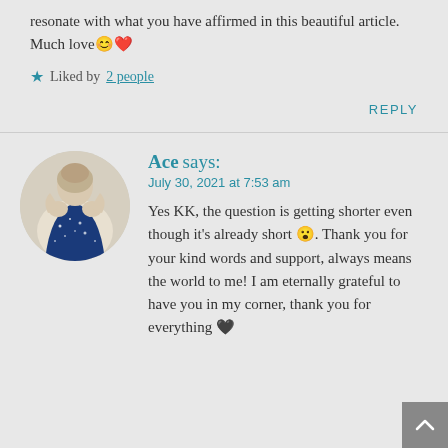resonate with what you have affirmed in this beautiful article. Much love 😊❤️
★ Liked by 2 people
REPLY
[Figure (illustration): Circular avatar showing a person from behind with blue starry clothing, embracing themselves]
Ace says:
July 30, 2021 at 7:53 am
Yes KK, the question is getting shorter even though it's already short 😮. Thank you for your kind words and support, always means the world to me! I am eternally grateful to have you in my corner, thank you for everything 🖤